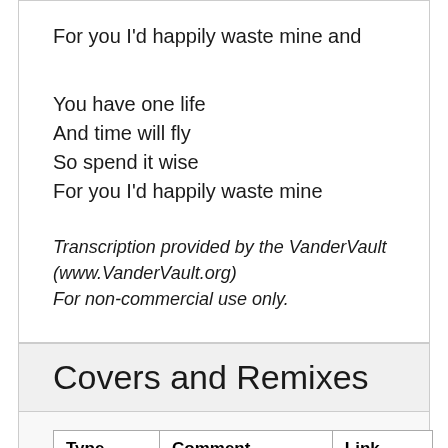For you I'd happily waste mine and
You have one life
And time will fly
So spend it wise
For you I'd happily waste mine
Transcription provided by the VanderVault (www.VanderVault.org) For non-commercial use only.
Covers and Remixes
| Type | Comment | Link |
| --- | --- | --- |